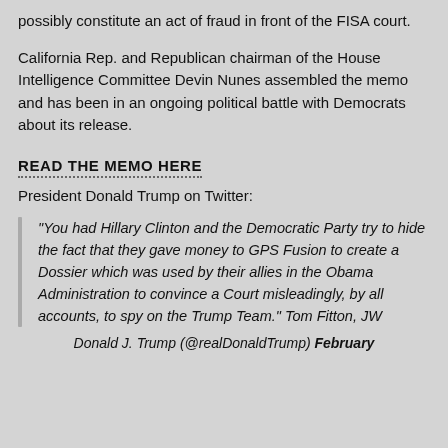possibly constitute an act of fraud in front of the FISA court.
California Rep. and Republican chairman of the House Intelligence Committee Devin Nunes assembled the memo and has been in an ongoing political battle with Democrats about its release.
READ THE MEMO HERE
President Donald Trump on Twitter:
“You had Hillary Clinton and the Democratic Party try to hide the fact that they gave money to GPS Fusion to create a Dossier which was used by their allies in the Obama Administration to convince a Court misleadingly, by all accounts, to spy on the Trump Team.” Tom Fitton, JW
Donald J. Trump (@realDonaldTrump) February